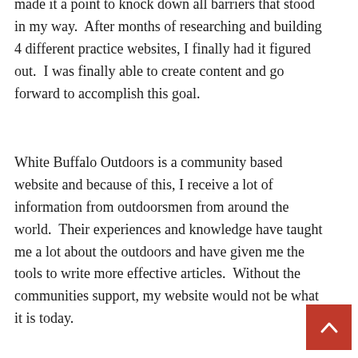made it a point to knock down all barriers that stood in my way.  After months of researching and building 4 different practice websites, I finally had it figured out.  I was finally able to create content and go forward to accomplish this goal.
White Buffalo Outdoors is a community based website and because of this, I receive a lot of information from outdoorsmen from around the world.  Their experiences and knowledge have taught me a lot about the outdoors and have given me the tools to write more effective articles.  Without the communities support, my website would not be what it is today.